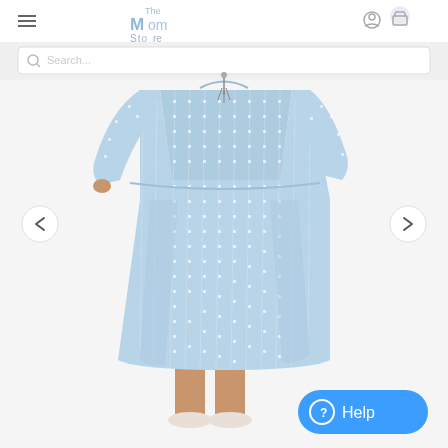[Figure (screenshot): E-commerce website screenshot showing a woman wearing a light blue patterned midi dress with long sleeves, a tassel neckline detail, and white sneakers. The website appears to be 'The Mom Store'. There is a search bar at the top, navigation arrows on the left and right sides of the product image, and a blue Help button in the bottom right corner.]